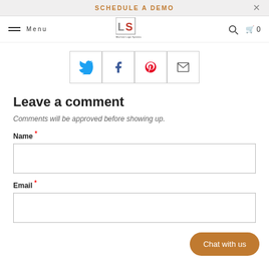Schedule A Demo
[Figure (logo): Machine Logic Systems logo with LS letters in red and gray]
[Figure (infographic): Social share buttons: Twitter, Facebook, Pinterest, Email]
Leave a comment
Comments will be approved before showing up.
Name *
Email *
Chat with us